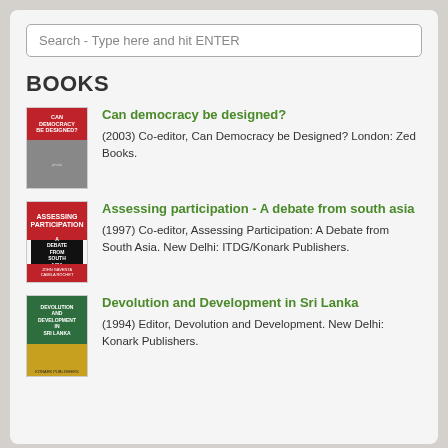Search - Type here and hit ENTER
BOOKS
[Figure (photo): Book cover of 'Can Democracy be Designed?' with red and grey tones]
Can democracy be designed?
(2003) Co-editor, Can Democracy be Designed? London: Zed Books.
[Figure (photo): Book cover of 'Assessing Participation - A Debate from South Asia' with red and black tones]
Assessing participation - A debate from south asia
(1997) Co-editor, Assessing Participation: A Debate from South Asia. New Delhi: ITDG/Konark Publishers.
[Figure (photo): Book cover of 'Devolution and Development in Sri Lanka' with green and gold tones]
Devolution and Development in Sri Lanka
(1994) Editor, Devolution and Development. New Delhi: Konark Publishers.